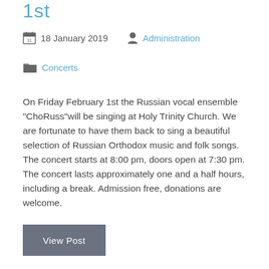1st
18 January 2019   Administration
Concerts
On Friday February 1st the Russian vocal ensemble “ChoRuss”will be singing at Holy Trinity Church. We are fortunate to have them back to sing a beautiful selection of Russian Orthodox music and folk songs. The concert starts at 8:00 pm, doors open at 7:30 pm. The concert lasts approximately one and a half hours, including a break. Admission free, donations are welcome.
View Post